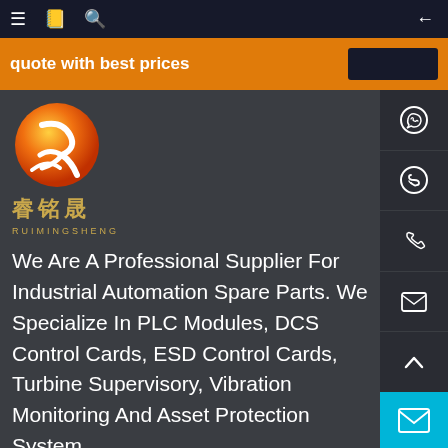quote with best prices
[Figure (logo): Ruimingsheng company logo with circular orange/red gradient emblem, Chinese characters 睿铭晟, and pinyin RUIMINGSHENG]
We Are A Professional Supplier For Industrial Automation Spare Parts. We Specialize In PLC Modules, DCS Control Cards, ESD Control Cards, Turbine Supervisory, Vibration Monitoring And Asset Protection System.
Phone: 0086-13328787063